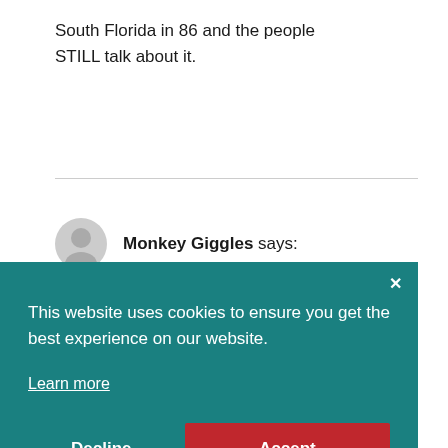South Florida in 86 and the people STILL talk about it.
Monkey Giggles says:
This website uses cookies to ensure you get the best experience on our website.

Learn more

Decline   Accept